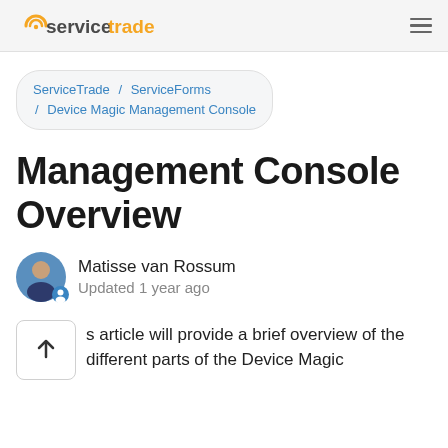servicetrade
ServiceTrade / ServiceForms / Device Magic Management Console
Management Console Overview
Matisse van Rossum
Updated 1 year ago
This article will provide a brief overview of the different parts of the Device Magic